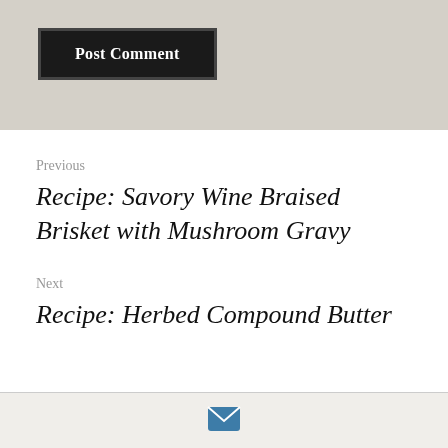[Figure (other): Post Comment button with dark background and white text, inside a bordered box]
Previous
Recipe: Savory Wine Braised Brisket with Mushroom Gravy
Next
Recipe: Herbed Compound Butter
[Figure (other): Email envelope icon in teal/blue color in the page footer]